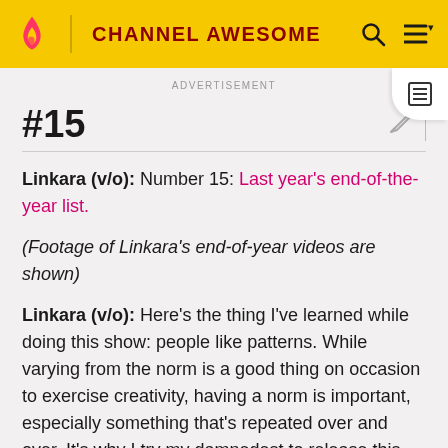CHANNEL AWESOME
ADVERTISEMENT
#15
Linkara (v/o): Number 15: Last year's end-of-the-year list.
(Footage of Linkara's end-of-year videos are shown)
Linkara (v/o): Here's the thing I've learned while doing this show: people like patterns. While varying from the norm is a good thing on occasion to exercise creativity, having a norm is important, especially something that's repeated over and over. It's why I try my damnedest to release this show every week on Monday at 10AM...